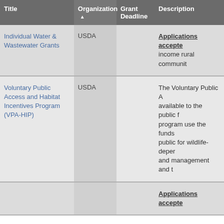| Title | Organization ▲ | Grant Deadline | Description |
| --- | --- | --- | --- |
| Individual Water & Wastewater Grants | USDA |  | Applications accepted... income rural communit... |
| Voluntary Public Access and Habitat Incentives Program (VPA-HIP) | USDA |  | The Voluntary Public A... available to the public f... program use the funds ... public for wildlife-depen... and management and ... |
|  |  |  | Applications accepte... |